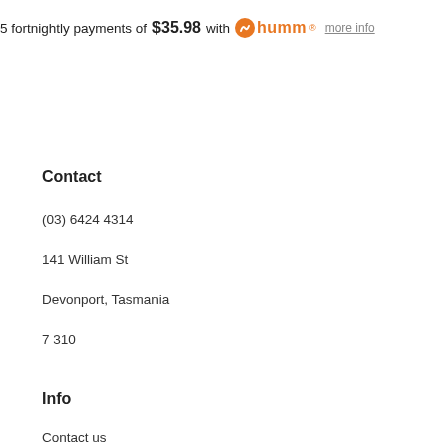5 fortnightly payments of $35.98 with humm more info
Contact
(03) 6424 4314
141 William St
Devonport, Tasmania
7310
Info
Contact us